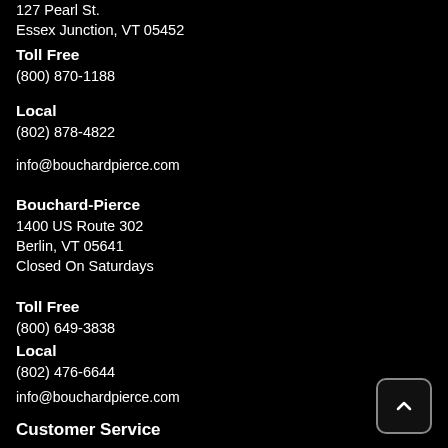127 Pearl St.
Essex Junction, VT 05452
Toll Free
(800) 870-1188
Local
(802) 878-4822
info@bouchardpierce.com
Bouchard-Pierce
1400 US Route 302
Berlin, VT 05641
Closed On Saturdays
Toll Free
(800) 649-3838
Local
(802) 476-6644
info@bouchardpierce.com
Customer Service
Contact Us